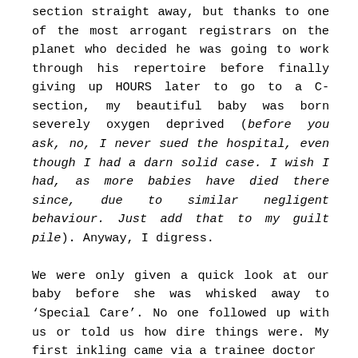section straight away, but thanks to one of the most arrogant registrars on the planet who decided he was going to work through his repertoire before finally giving up HOURS later to go to a C-section, my beautiful baby was born severely oxygen deprived (before you ask, no, I never sued the hospital, even though I had a darn solid case. I wish I had, as more babies have died there since, due to similar negligent behaviour. Just add that to my guilt pile). Anyway, I digress.

We were only given a quick look at our baby before she was whisked away to 'Special Care'. No one followed up with us or told us how dire things were. My first inkling came via a trainee doctor